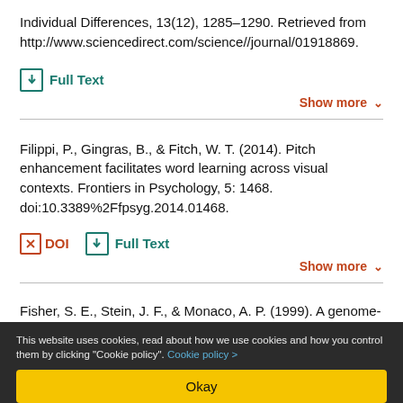Individual Differences, 13(12), 1285–1290. Retrieved from http://www.sciencedirect.com/science//journal/01918869.
Full Text
Show more
Filippi, P., Gingras, B., & Fitch, W. T. (2014). Pitch enhancement facilitates word learning across visual contexts. Frontiers in Psychology, 5: 1468. doi:10.3389%2Ffpsyg.2014.01468.
DOI   Full Text
Show more
Fisher, S. E., Stein, J. F., & Monaco, A. P. (1999). A genome-
This website uses cookies, read about how we use cookies and how you control them by clicking "Cookie policy". Cookie policy >
Okay